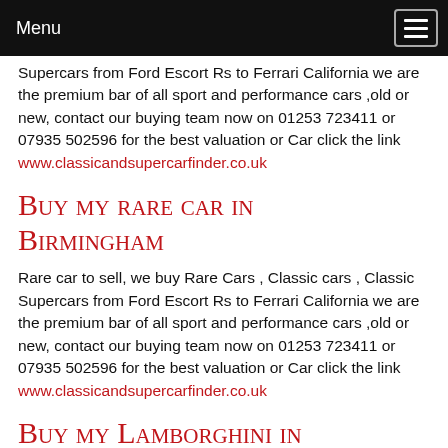Menu
Supercars from Ford Escort Rs to Ferrari California we are the premium bar of all sport and performance cars ,old or new, contact our buying team now on 01253 723411 or 07935 502596 for the best valuation or Car click the link www.classicandsupercarfinder.co.uk
Buy my rare car in Birmingham
Rare car to sell, we buy Rare Cars , Classic cars , Classic Supercars from Ford Escort Rs to Ferrari California we are the premium bar of all sport and performance cars ,old or new, contact our buying team now on 01253 723411 or 07935 502596 for the best valuation or Car click the link www.classicandsupercarfinder.co.uk
Buy my Lamborghini in Birmingham
We buy Lamborghini, as Premium buyers of Lamborghini